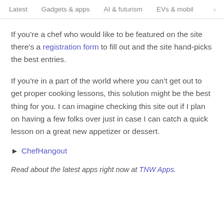Latest   Gadgets & apps   AI & futurism   EVs & mobil  >
If you’re a chef who would like to be featured on the site there’s a registration form to fill out and the site hand-picks the best entries.
If you’re in a part of the world where you can’t get out to get proper cooking lessons, this solution might be the best thing for you. I can imagine checking this site out if I plan on having a few folks over just in case I can catch a quick lesson on a great new appetizer or dessert.
► ChefHangout
Read about the latest apps right now at TNW Apps.